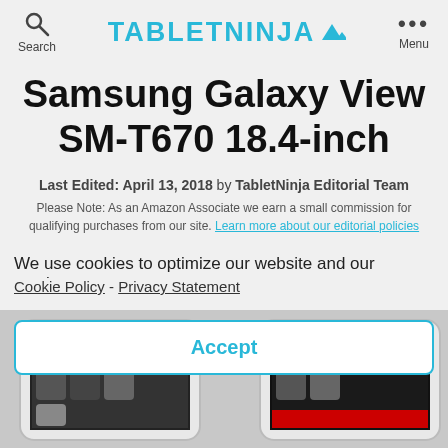TABLETNINJA
Samsung Galaxy View SM-T670 18.4-inch
Last Edited: April 13, 2018 by TabletNinja Editorial Team
Please Note: As an Amazon Associate we earn a small commission for qualifying purchases from our site. Learn more about our editorial policies
We use cookies to optimize our website and our service.
Cookie Policy  -  Privacy Statement
Accept
[Figure (photo): Partial image of Samsung Galaxy View tablet showing the device screen with app icons]